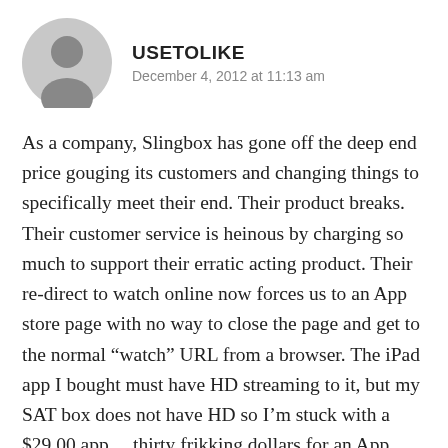USETOLIKE
December 4, 2012 at 11:13 am
As a company, Slingbox has gone off the deep end price gouging its customers and changing things to specifically meet their end. Their product breaks. Their customer service is heinous by charging so much to support their erratic acting product. Their re-direct to watch online now forces us to an App store page with no way to close the page and get to the normal “watch” URL from a browser. The iPad app I bought must have HD streaming to it, but my SAT box does not have HD so I’m stuck with a $29.00 app... thirty frikking dollars for an App. The iPhone app simply doesn’t work, then...